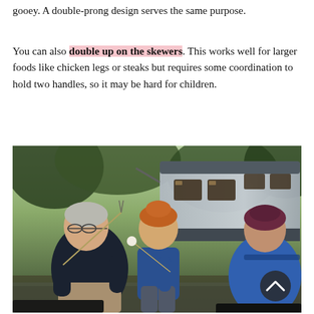gooey. A double-prong design serves the same purpose.
You can also double up on the skewers. This works well for larger foods like chicken legs or steaks but requires some coordination to hold two handles, so it may be hard for children.
[Figure (photo): Grandparents and a young red-haired toddler around a campfire, with a large RV/camper in the background and trees. The older man is holding a roasting fork, the child is holding a marshmallow on a stick, and the woman is seated in a blue chair. A scroll-to-top button is overlaid in the lower right.]